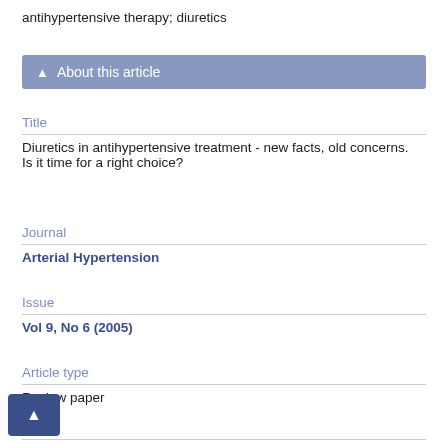antihypertensive therapy; diuretics
About this article
Title
Diuretics in antihypertensive treatment - new facts, old concerns. Is it time for a right choice?
Journal
Arterial Hypertension
Issue
Vol 9, No 6 (2005)
Article type
Review paper
Pages
474-488